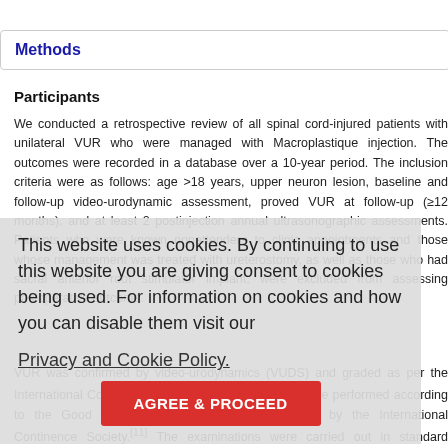Methods
Participants
We conducted a retrospective review of all spinal cord-injured patients with unilateral VUR who were managed with Macroplastique injection. The outcomes were recorded in a database over a 10-year period. The inclusion criteria were as follows: age >18 years, upper neuron lesion, baseline and follow-up video-urodynamic assessment, proved VUR at follow-up (≥12 months), and at least 2 postinjection annual ultrasonographic assessments. Patients who were known nonattenders to clinic appointments and those whose management was treated with ureterostomy, as well as those who had sacral anterior root stimulator implant, were excluded from assessing postoperative outcome.
VUR was confirmed by video-urodynamics (VUDS) and graded as per the International Committee grading system.[10] VUDS were performed according to the Good Urodynamic Practices recommended by the International Continence Society.[11] The examinations were carried out in standard urodynamic catheters (6Fr dual bladder catheter and 8Fr slit balloon